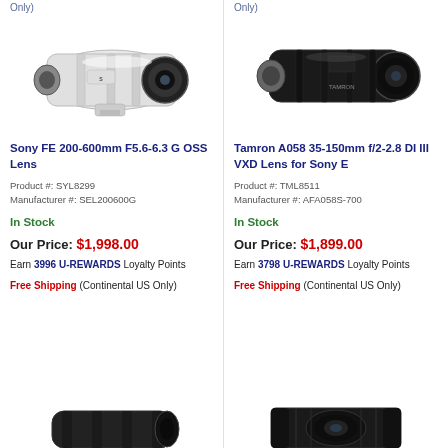Only)
[Figure (photo): Sony FE 200-600mm F5.6-6.3 G OSS white telephoto lens]
Sony FE 200-600mm F5.6-6.3 G OSS Lens
Product #: SYL8299
Manufacturer #: SEL200600G
In Stock
Our Price: $1,998.00
Earn 3996 U-REWARDS Loyalty Points
Free Shipping (Continental US Only)
[Figure (photo): Bottom partial view of a camera lens]
Only)
[Figure (photo): Tamron A058 35-150mm black zoom lens]
Tamron A058 35-150mm f/2-2.8 DI III VXD Lens for Sony E
Product #: TML8511
Manufacturer #: AFA058S-700
In Stock
Our Price: $1,899.00
Earn 3798 U-REWARDS Loyalty Points
Free Shipping (Continental US Only)
[Figure (photo): Bottom partial view of a wide-angle lens]